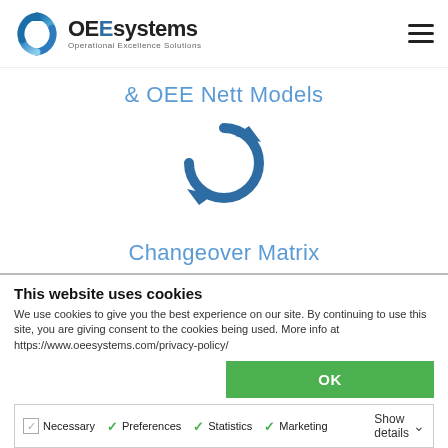OEEsystems — Operational Excellence Solutions
& OEE Nett Models
[Figure (illustration): Circular refresh/sync arrow icon in dark blue]
Changeover Matrix & Turnaround Time Analysis
This website uses cookies
We use cookies to give you the best experience on our site. By continuing to use this site, you are giving consent to the cookies being used. More info at https://www.oeesystems.com/privacy-policy/
OK
Necessary | Preferences | Statistics | Marketing | Show details
Performance Losses